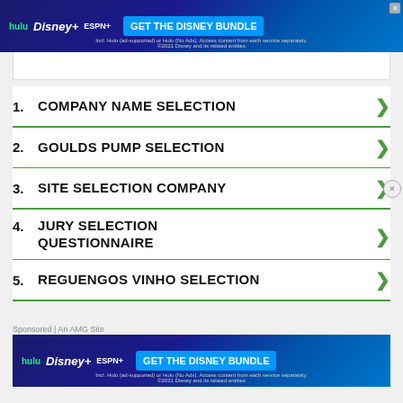[Figure (screenshot): Disney Bundle advertisement banner with Hulu, Disney+, ESPN+ logos and GET THE DISNEY BUNDLE button]
1. COMPANY NAME SELECTION
2. GOULDS PUMP SELECTION
3. SITE SELECTION COMPANY
4. JURY SELECTION QUESTIONNAIRE
5. REGUENGOS VINHO SELECTION
Sponsored | An AMG Site
[Figure (screenshot): Disney Bundle advertisement banner with Hulu, Disney+, ESPN+ logos and GET THE DISNEY BUNDLE button]